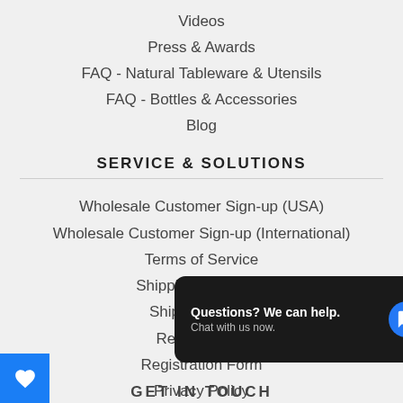Videos
Press & Awards
FAQ - Natural Tableware & Utensils
FAQ - Bottles & Accessories
Blog
SERVICE & SOLUTIONS
Wholesale Customer Sign-up (USA)
Wholesale Customer Sign-up (International)
Terms of Service
Shipping Insurance
Shipping Policy
Return Policy
Registration Form
Privacy Policy
Questions? We can help. Chat with us now.
GET IN TOUCH